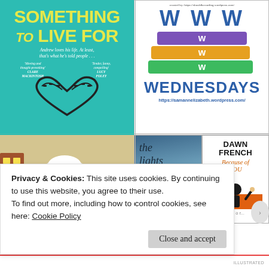[Figure (illustration): Book cover for 'Something to Live For' by Andrew Sean Greer. Teal/turquoise background with yellow bold text title, roller-coaster heart shape at bottom, white subtitle text and quotes.]
[Figure (logo): WWW Wednesdays blog meme logo. Three stacked books in purple, orange, and green with white W letters. Blue bold text 'WWW' at top, 'WEDNESDAYS' below, URL https://samannelizabeth.wordpress.com/ at bottom.]
[Figure (illustration): Cartoon avatar of a woman with red hair and glasses, winter hat, in a colorful illustrated city scene.]
[Figure (illustration): Two book covers side by side: 'the lights go out' with ocean/wave background, and Dawn French 'Because of YOU' with orange/white cover.]
Privacy & Cookies: This site uses cookies. By continuing to use this website, you agree to their use.
To find out more, including how to control cookies, see here: Cookie Policy
Close and accept